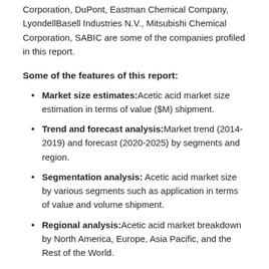Corporation, DuPont, Eastman Chemical Company, LyondellBasell Industries N.V., Mitsubishi Chemical Corporation, SABIC are some of the companies profiled in this report.
Some of the features of this report:
Market size estimates: Acetic acid market size estimation in terms of value ($M) shipment.
Trend and forecast analysis: Market trend (2014-2019) and forecast (2020-2025) by segments and region.
Segmentation analysis: Acetic acid market size by various segments such as application in terms of value and volume shipment.
Regional analysis: Acetic acid market breakdown by North America, Europe, Asia Pacific, and the Rest of the World.